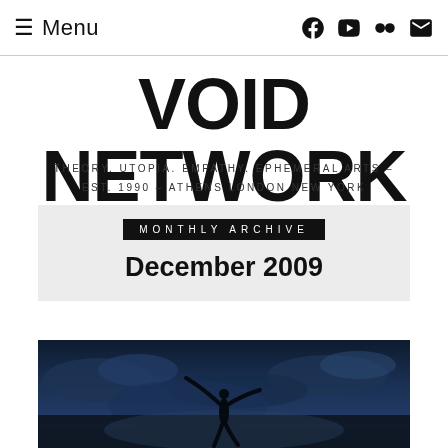Menu
VOID NETWORK
THEORY. UTOPIA. EMPATHY. EPHEMERAL ARTS – EST. 1990 – ATHENS LONDON NEW YORK
MONTHLY ARCHIVE
December 2009
[Figure (photo): Silhouette of a person with arms outstretched against a dramatic dark blue cloudy sky, appearing to jump or dance outdoors]